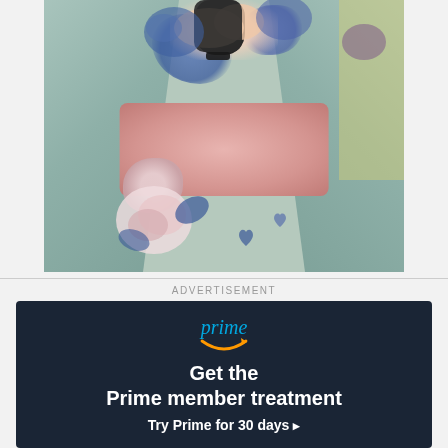[Figure (photo): Overhead view of a person wearing a mint green floral kimono with blue and purple flowers, a pink obi sash, pouring from a dark teapot. Yellowish-green background visible.]
ADVERTISEMENT
[Figure (infographic): Amazon Prime advertisement on dark navy background. Shows 'prime' logo in blue italic text with Amazon smile arrow beneath it. Large white bold text reads 'Get the Prime member treatment'. Below in white bold text: 'Try Prime for 30 days ›']